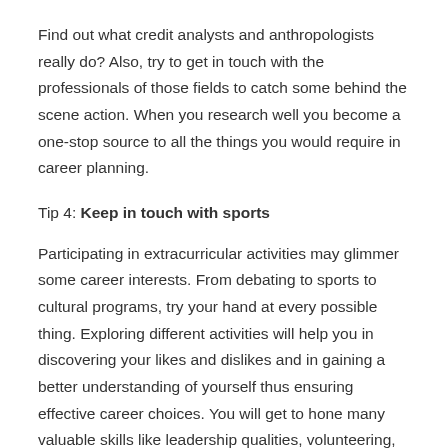Find out what credit analysts and anthropologists really do? Also, try to get in touch with the professionals of those fields to catch some behind the scene action. When you research well you become a one-stop source to all the things you would require in career planning.
Tip 4: Keep in touch with sports
Participating in extracurricular activities may glimmer some career interests. From debating to sports to cultural programs, try your hand at every possible thing. Exploring different activities will help you in discovering your likes and dislikes and in gaining a better understanding of yourself thus ensuring effective career choices. You will get to hone many valuable skills like leadership qualities, volunteering, time management, and decision making.